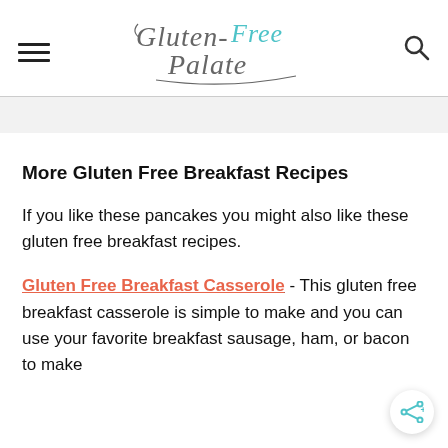Gluten-Free Palate [logo with hamburger menu and search icon]
More Gluten Free Breakfast Recipes
If you like these pancakes you might also like these gluten free breakfast recipes.
Gluten Free Breakfast Casserole - This gluten free breakfast casserole is simple to make and you can use your favorite breakfast sausage, ham, or bacon to make